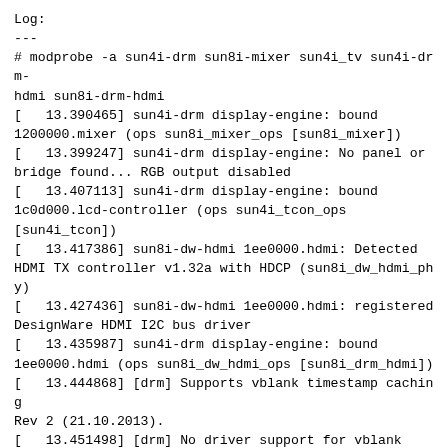Log:
---
# modprobe -a sun4i-drm sun8i-mixer sun4i_tv sun4i-drm-hdmi sun8i-drm-hdmi
[   13.390465] sun4i-drm display-engine: bound 1200000.mixer (ops sun8i_mixer_ops [sun8i_mixer])
[   13.399247] sun4i-drm display-engine: No panel or bridge found... RGB output disabled
[   13.407113] sun4i-drm display-engine: bound 1c0d000.lcd-controller (ops sun4i_tcon_ops [sun4i_tcon])
[   13.417386] sun8i-dw-hdmi 1ee0000.hdmi: Detected HDMI TX controller v1.32a with HDCP (sun8i_dw_hdmi_phy)
[   13.427436] sun8i-dw-hdmi 1ee0000.hdmi: registered DesignWare HDMI I2C bus driver
[   13.435987] sun4i-drm display-engine: bound 1ee0000.hdmi (ops sun8i_dw_hdmi_ops [sun8i_drm_hdmi])
[   13.444868] [drm] Supports vblank timestamp caching Rev 2 (21.10.2013).
[   13.451498] [drm] No driver support for vblank timestamp query.
[   13.9222226] Console: switching to colour frame buffer device 320x90
[   14.008789] sun4i-drm display-engine: fb0:  frame buffer device
[   14.028297] [drm] Initialized sun4i-drm 1.0.0 20150629 for display-engine on minor 0